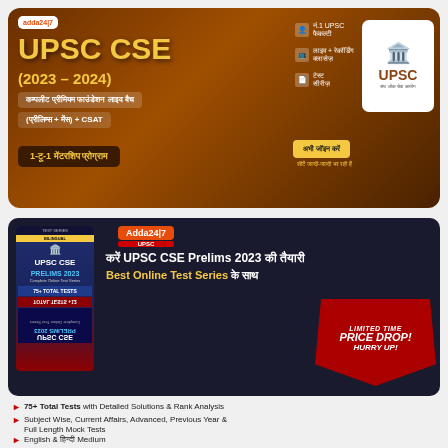[Figure (infographic): UPSC CSE 2023-2024 Complete Premium Foundation Live Batch advertisement banner with Hindi text, features list, join button and UPSC emblem]
[Figure (infographic): UPSC CSE Prelims 2023 Complete Online Test Series advertisement with book image, Adda247 logo, Hindi text, and Limited Time Price Drop offer]
75+ Total Tests with Detailed Solutions & Rank Analysis
Subject Wise, Current Affairs, Advanced, Previous Year & Full Length Mock Tests
English & हिन्दी Medium